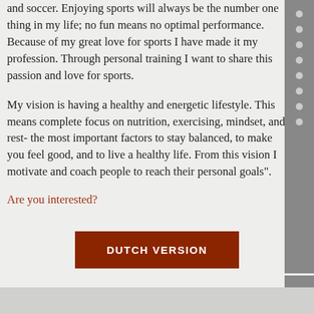and soccer. Enjoying sports will always be the number one thing in my life; no fun means no optimal performance. Because of my great love for sports I have made it my profession. Through personal training I want to share this passion and love for sports.
My vision is having a healthy and energetic lifestyle. This means complete focus on nutrition, exercising, mindset, and rest- the most important factors to stay balanced, to make you feel good, and to live a healthy life. From this vision I motivate and coach people to reach their personal goals".
Are you interested?
DUTCH VERSION